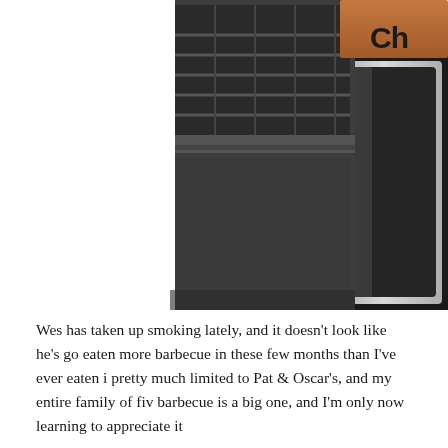[Figure (photo): Close-up photo of a barbecue grill (appears to be a Char-Broil or similar brand) showing the grill grates, dark metal lid, and stainless steel body against a white/grey tile or concrete floor background. The upper right corner shows orange/copper colored wood panel and partial brand text 'Ch...'.]
Wes has taken up smoking lately, and it doesn't look like he's go... eaten more barbecue in these few months than I've ever eaten i... pretty much limited to Pat & Oscar's, and my entire family of fiv... barbecue is a big one, and I'm only now learning to appreciate it...